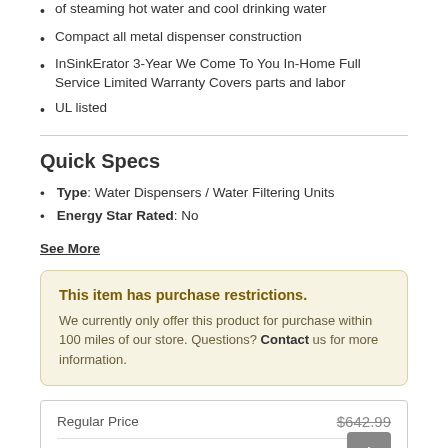of steaming hot water and cool drinking water
Compact all metal dispenser construction
InSinkErator 3-Year We Come To You In-Home Full Service Limited Warranty Covers parts and labor
UL listed
Quick Specs
Type: Water Dispensers / Water Filtering Units
Energy Star Rated: No
See More
This item has purchase restrictions. We currently only offer this product for purchase within 100 miles of our store. Questions? Contact us for more information.
| Regular Price | $642.99 |
| --- | --- |
Call for Our Best Price